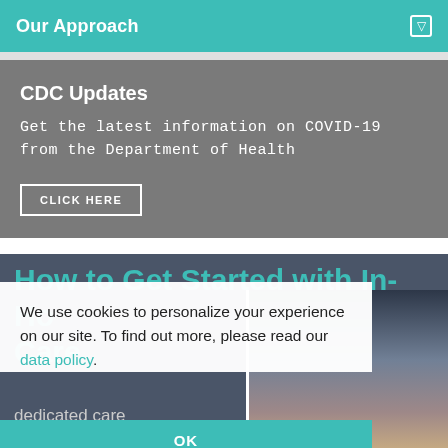Our Approach
CDC Updates
Get the latest information on COVID-19 from the Department of Health
CLICK HERE
How to Get Started with In-Home Care
dedicated care
providers at
Visiting Angels®
We use cookies to personalize your experience on our site. To find out more, please read our data policy.
OK